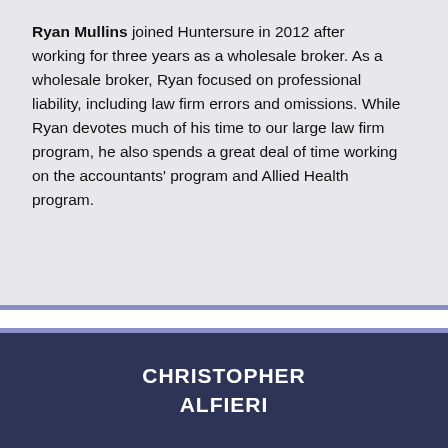Ryan Mullins joined Huntersure in 2012 after working for three years as a wholesale broker. As a wholesale broker, Ryan focused on professional liability, including law firm errors and omissions. While Ryan devotes much of his time to our large law firm program, he also spends a great deal of time working on the accountants' program and Allied Health program.
CHRISTOPHER ALFIERI